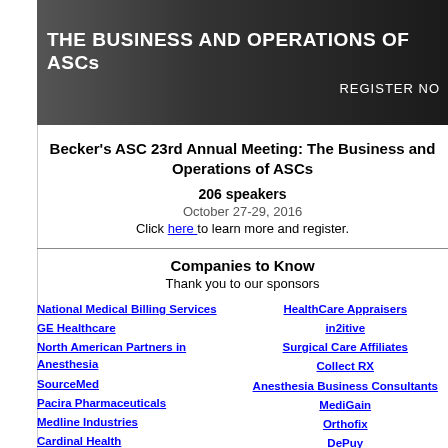[Figure (photo): Banner with dark background showing text 'THE BUSINESS AND OPERATIONS OF ASCs' and 'REGISTER NO' on right side]
Becker's ASC 23rd Annual Meeting: The Business and Operations of ASCs
206 speakers
October 27-29, 2016
Click here to learn more and register.
Companies to Know
Thank you to our sponsors
National Medical Billing Services
GE Healthcare
North American Partners in Anesthesia
SourceMed
Pacira Pharmaceuticals
Medline Industries
Cardinal Health
Centinel Spine
Banyan
Regent Surgical Health
HealthCare Appraisers
in2itive
Surgical Care Affiliates
Collect RX
Anesthesia Business Consultants
MediGain
Orthofix
DePuy
Surgical Notes
Carl Zeiss Meditec